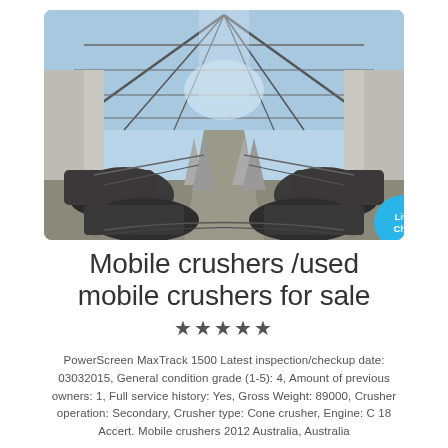[Figure (photo): Interior industrial photograph of mobile crusher machinery under a steel lattice roof/greenhouse structure, showing conveyor belts and large machinery components symmetrically arranged, taken from ground level looking toward the center.]
Mobile crushers /used mobile crushers for sale
★★★★★
PowerScreen MaxTrack 1500 Latest inspection/checkup date: 03032015, General condition grade (1-5): 4, Amount of previous owners: 1, Full service history: Yes, Gross Weight: 89000, Crusher operation: Secondary, Crusher type: Cone crusher, Engine: C 18 Accert. Mobile crushers 2012 Australia, Australia